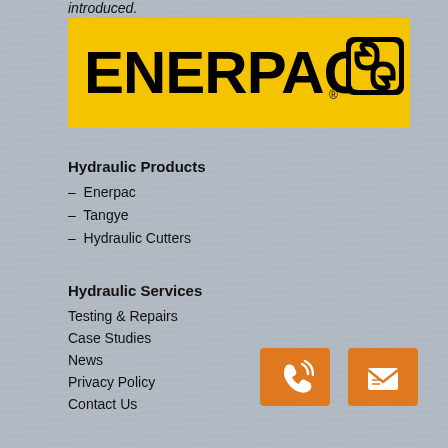introduced.
[Figure (logo): Enerpac yellow logo with chain/link icon on right]
Hydraulic Products
– Enerpac
– Tangye
– Hydraulic Cutters
Hydraulic Services
Testing & Repairs
Case Studies
News
Privacy Policy
Contact Us
[Figure (illustration): Orange phone/call button icon]
[Figure (illustration): Orange email/envelope button icon]